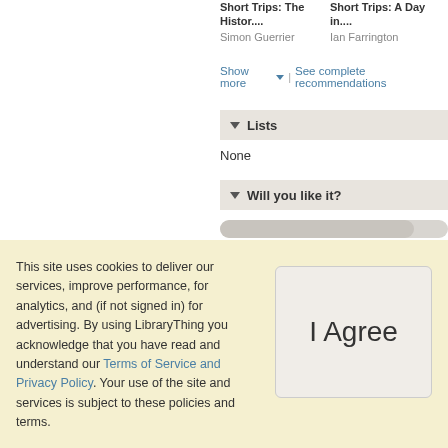Short Trips: The Histor....
Simon Guerrier
Short Trips: A Day in....
Ian Farrington
Show more | See complete recommendations
▼ Lists
None
▼ Will you like it?
Sign up for LibraryThing to find out whether you'll like this book.
This site uses cookies to deliver our services, improve performance, for analytics, and (if not signed in) for advertising. By using LibraryThing you acknowledge that you have read and understand our Terms of Service and Privacy Policy. Your use of the site and services is subject to these policies and terms.
I Agree